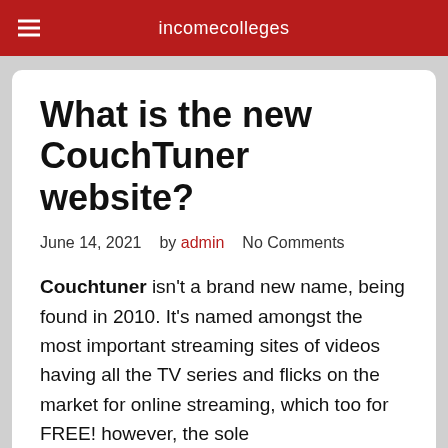incomecolleges
What is the new CouchTuner website?
June 14, 2021   by admin   No Comments
Couchtuner isn't a brand new name, being found in 2010. It's named amongst the most important streaming sites of videos having all the TV series and flicks on the market for online streaming, which too for FREE! however, the sole